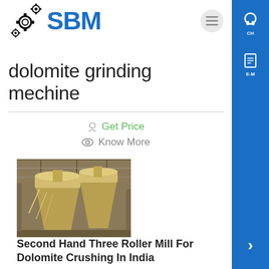SBM
dolomite grinding mechine
Get Price
Know More
[Figure (photo): Industrial grinding mill equipment with large cyclone separators in a factory setting]
Second Hand Three Roller Mill For Dolomite Crushing In India
Dolomite Grinding Mills for sale in India stone...